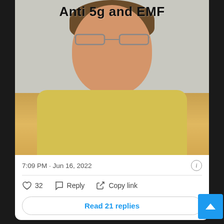[Figure (photo): Screenshot of a social media post (Twitter/X) showing a mugshot-style photo of a man with curly brown hair, glasses, and a yellow shirt, against a gray block wall. The image has bold black overlay text reading 'Anti 5g and EMF' at the top.]
Anti 5g and EMF
7:09 PM · Jun 16, 2022
32  Reply  Copy link
Read 21 replies